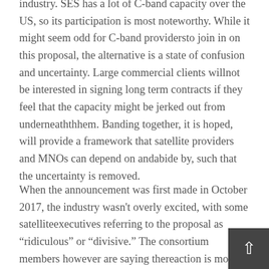industry. SES has a lot of C-band capacity over the US, so its participation is most noteworthy. While it might seem odd for C-band providersto join in on this proposal, the alternative is a state of confusion and uncertainty. Large commercial clients willnot be interested in signing long term contracts if they feel that the capacity might be jerked out from underneaththhem. Banding together, it is hoped, will provide a framework that satellite providers and MNOs can depend on andabide by, such that the uncertainty is removed.
When the announcement was first made in October 2017, the industry wasn't overly excited, with some satelliteexecutives referring to the proposal as “ridiculous” or “divisive.” The consortium members however are saying thereaction is more positive. Intelsat noted that the most negative comments came from providers outside the US